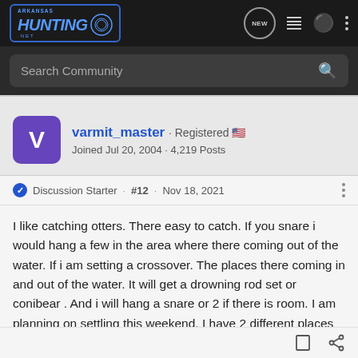Arkansas Hunting .NET
Search Community
varmit_master · Registered 🇺🇸
Joined Jul 20, 2004 · 4,219 Posts
Discussion Starter · #12 · Nov 18, 2021
I like catching otters. There easy to catch. If you snare i would hang a few in the area where there coming out of the water. If i am setting a crossover. The places there coming in and out of the water. It will get a drowning rod set or conibear . And i will hang a snare or 2 if there is room. I am planning on settling this weekend. I have 2 different places to set.